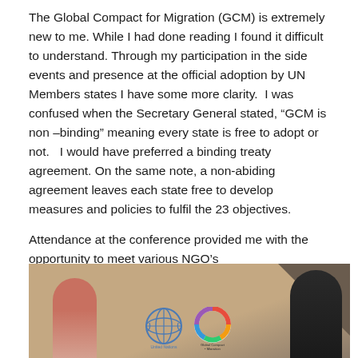The Global Compact for Migration (GCM) is extremely new to me. While I had done reading I found it difficult to understand. Through my participation in the side events and presence at the official adoption by UN Members states I have some more clarity.  I was confused when the Secretary General stated, “GCM is non –binding” meaning every state is free to adopt or not.   I would have preferred a binding treaty agreement. On the same note, a non-abiding agreement leaves each state free to develop measures and policies to fulfil the 23 objectives.
Attendance at the conference provided me with the opportunity to meet various NGO’s
[Figure (photo): Photo from a conference showing two people standing in front of a backdrop with United Nations and Global Compact for Migration logos.]